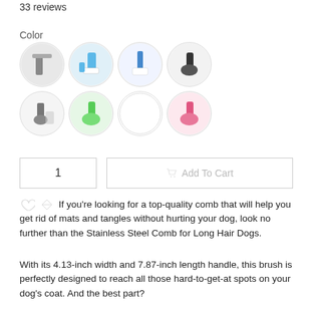33 reviews
Color
[Figure (photo): Eight circular color swatch images showing different color variants of a pet grooming brush/comb product: grey comb, blue/white brush, blue brush, black brush, grey brush with dog, green brush, white/empty circle, pink brush]
1
Add To Cart
If you're looking for a top-quality comb that will help you get rid of mats and tangles without hurting your dog, look no further than the Stainless Steel Comb for Long Hair Dogs.
With its 4.13-inch width and 7.87-inch length handle, this brush is perfectly designed to reach all those hard-to-get-at spots on your dog's coat. And the best part?